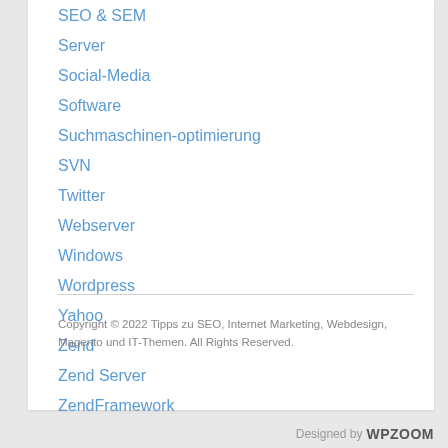SEO & SEM
Server
Social-Media
Software
Suchmaschinen-optimierung
SVN
Twitter
Webserver
Windows
Wordpress
Yahoo
Zend
Zend Server
ZendFramework
Copyright © 2022 Tipps zu SEO, Internet Marketing, Webdesign, Magento und IT-Themen. All Rights Reserved.
Designed by WPZOOM